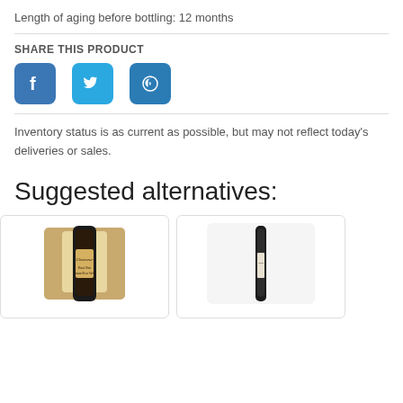Length of aging before bottling: 12 months
SHARE THIS PRODUCT
[Figure (infographic): Social media share icons: Facebook, Twitter, Pinterest]
Inventory status is as current as possible, but may not reflect today's deliveries or sales.
Suggested alternatives:
[Figure (photo): Wine bottle product card: Chasseur label]
[Figure (photo): Wine bottle product card: second wine bottle]